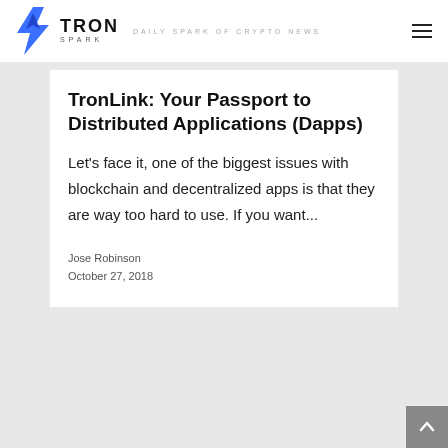TRON SPARK — DAILY SPARK OF CRYPTO NEWS
TronLink: Your Passport to Distributed Applications (Dapps)
Let's face it, one of the biggest issues with blockchain and decentralized apps is that they are way too hard to use. If you want...
Jose Robinson
October 27, 2018